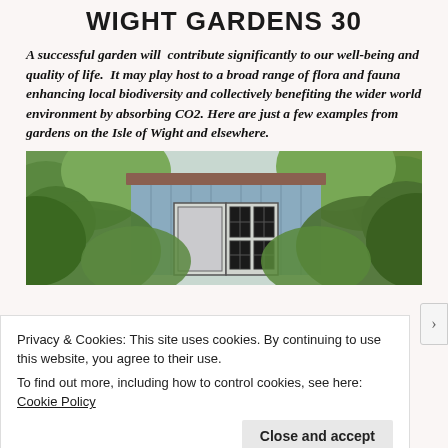WIGHT GARDENS 30
A successful garden will contribute significantly to our well-being and quality of life. It may play host to a broad range of flora and fauna enhancing local biodiversity and collectively benefiting the wider world environment by absorbing CO2. Here are just a few examples from gardens on the Isle of Wight and elsewhere.
[Figure (photo): Photograph of a blue/grey garden shed or outbuilding with double doors and multi-pane windows, surrounded by lush green trees and foliage.]
Privacy & Cookies: This site uses cookies. By continuing to use this website, you agree to their use.
To find out more, including how to control cookies, see here: Cookie Policy